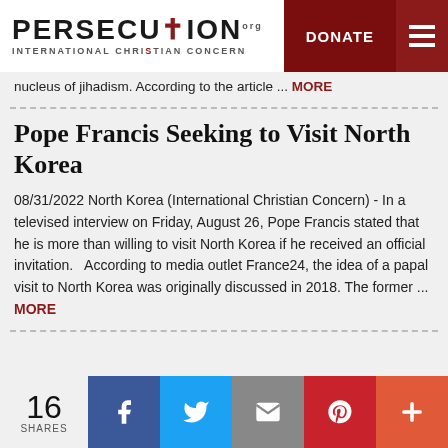PERSECUTION.ORG — INTERNATIONAL CHRISTIAN CONCERN — DONATE
nucleus of jihadism. According to the article ... MORE
Pope Francis Seeking to Visit North Korea
08/31/2022 North Korea (International Christian Concern) - In a televised interview on Friday, August 26, Pope Francis stated that he is more than willing to visit North Korea if he received an official invitation.   According to media outlet France24, the idea of a papal visit to North Korea was originally discussed in 2018. The former ... MORE
16 SHARES